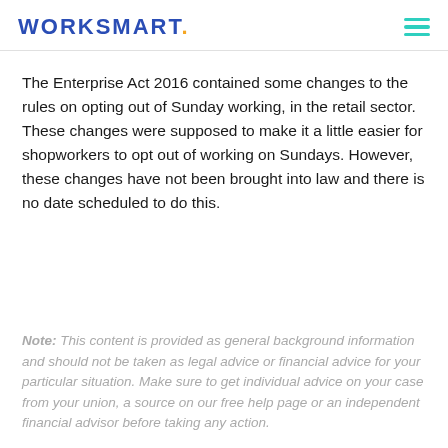WORKSMART.
The Enterprise Act 2016 contained some changes to the rules on opting out of Sunday working, in the retail sector. These changes were supposed to make it a little easier for shopworkers to opt out of working on Sundays. However, these changes have not been brought into law and there is no date scheduled to do this.
Note: This content is provided as general background information and should not be taken as legal advice or financial advice for your particular situation. Make sure to get individual advice on your case from your union, a source on our free help page or an independent financial advisor before taking any action.